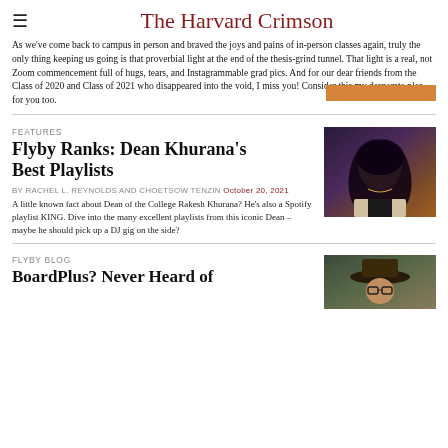The Harvard Crimson
As we've come back to campus in person and braved the joys and pains of in-person classes again, truly the only thing keeping us going is that proverbial light at the end of the thesis-grind tunnel. That light is a real, not Zoom commencement full of hugs, tears, and Instagrammable grad pics. And for our dear friends from the Class of 2020 and Class of 2021 who disappeared into the void, I miss you! Consider this my desperate plea for you too.
FEATURES
Flyby Ranks: Dean Khurana's Best Playlists
By RACHEL L. REYNOLDS and CHOETSOW TENZIN October 20, 2021
A little known fact about Dean of the College Rakesh Khurana? He's also a Spotify playlist KING. Dive into the many excellent playlists from this iconic Dean – maybe he should pick up a DJ gig on the side?
[Figure (photo): Photo of a young Black woman with long curly hair seated in a dark setting with blue and red background lighting]
FLYBY BLOG
BoardPlus? Never Heard of
[Figure (photo): Photo of a person wearing a cowboy hat]